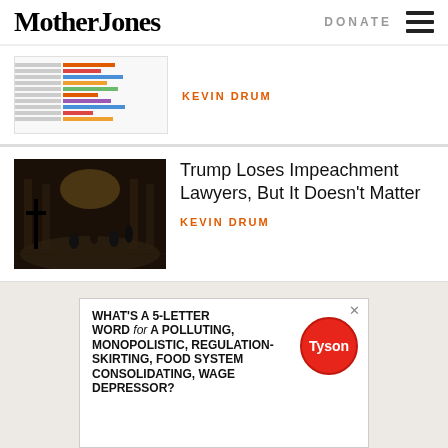Mother Jones | DONATE
[Figure (screenshot): Thumbnail of a horizontal bar chart]
KEVIN DRUM
[Figure (photo): Interior of the US Capitol rotunda with visitors and a cross silhouette]
Trump Loses Impeachment Lawyers, But It Doesn't Matter
KEVIN DRUM
[Figure (illustration): Advertisement cartoon: speech bubble reading WHAT'S A 5-LETTER WORD for A POLLUTING, MONOPOLISTIC, REGULATION-SKIRTING, FOOD SYSTEM CONSOLIDATING, WAGE DEPRESSOR? with Tyson logo bubble]